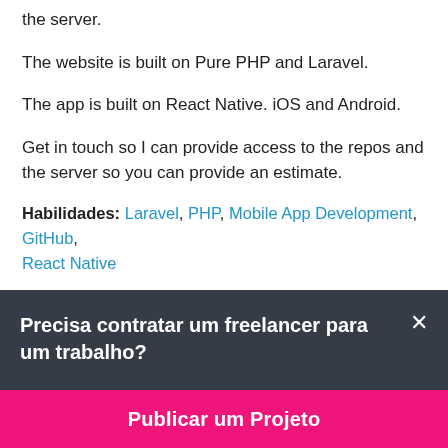the server.
The website is built on Pure PHP and Laravel.
The app is built on React Native. iOS and Android.
Get in touch so I can provide access to the repos and the server so you can provide an estimate.
Habilidades: Laravel, PHP, Mobile App Development, GitHub, React Native
Sobre o Cliente:
Precisa contratar um freelancer para um trabalho?
Publicar um Projeto